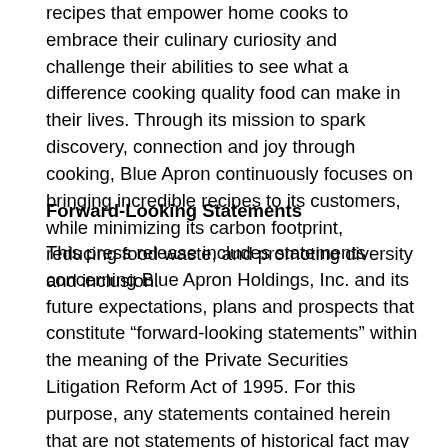recipes that empower home cooks to embrace their culinary curiosity and challenge their abilities to see what a difference cooking quality food can make in their lives. Through its mission to spark discovery, connection and joy through cooking, Blue Apron continuously focuses on bringing incredible recipes to its customers, while minimizing its carbon footprint, reducing food waste, and promoting diversity and inclusion.
Forward-Looking Statements
This press release includes statements concerning Blue Apron Holdings, Inc. and its future expectations, plans and prospects that constitute “forward-looking statements” within the meaning of the Private Securities Litigation Reform Act of 1995. For this purpose, any statements contained herein that are not statements of historical fact may be deemed to be forward-looking statements. In some cases, you can identify forward-looking statements by terms such as “may,” “should,” “expects,” “plans,” “forecasts,” “anticipates,” “could,” “intends,” “target,” “projects,” “contemplates,” “believes,” “estimates,”